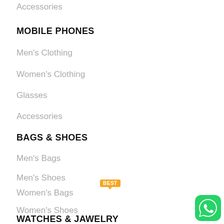Accessories
MOBILE PHONES
Men's Clothing
Women's Clothing
Glasses
Accessories
BAGS & SHOES
Men's Bags
Men's Shoes
Women's Bags
Women's Shoes
WATCHES & JAWELRY
[Figure (logo): WhatsApp green app icon]